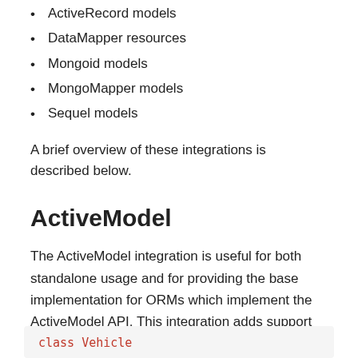ActiveRecord models
DataMapper resources
Mongoid models
MongoMapper models
Sequel models
A brief overview of these integrations is described below.
ActiveModel
The ActiveModel integration is useful for both standalone usage and for providing the base implementation for ORMs which implement the ActiveModel API. This integration adds support for validation errors, dirty attribute tracking, and observers. For example,
class Vehicle